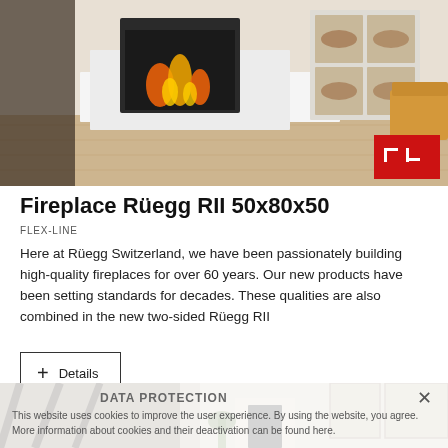[Figure (photo): Interior room photo showing a modern two-sided fireplace with white surround, wood storage cubby, hardwood floors, and a tan/camel leather sofa on the right. Rüegg brand logo badge in bottom-right corner of image.]
Fireplace Rüegg RII 50x80x50
FLEX-LINE
Here at Rüegg Switzerland, we have been passionately building high-quality fireplaces for over 60 years. Our new products have been setting standards for decades. These qualities are also combined in the new two-sided Rüegg RII
+ Details
[Figure (photo): Bottom portion of page showing another interior room photo partially obscured by a semi-transparent Data Protection cookie notice overlay. The photo shows a modern room with a fireplace, staircase with dark beams, and large windows.]
DATA PROTECTION
This website uses cookies to improve the user experience. By using the website, you agree. More information about cookies and their deactivation can be found here.